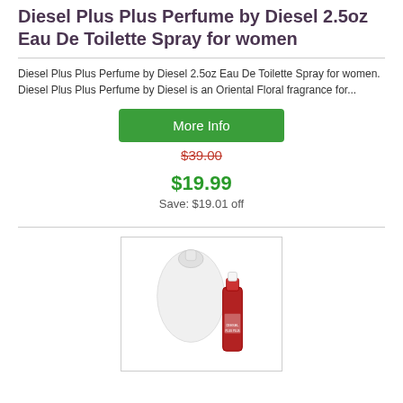Diesel Plus Plus Perfume by Diesel 2.5oz Eau De Toilette Spray for women
Diesel Plus Plus Perfume by Diesel 2.5oz Eau De Toilette Spray for women. Diesel Plus Plus Perfume by Diesel is an Oriental Floral fragrance for...
More Info
$39.00 (strikethrough original price)
$19.99
Save: $19.01 off
[Figure (photo): Product photo of Diesel Plus Plus Perfume: a large white oval bottle and a small red bottle with white cap]